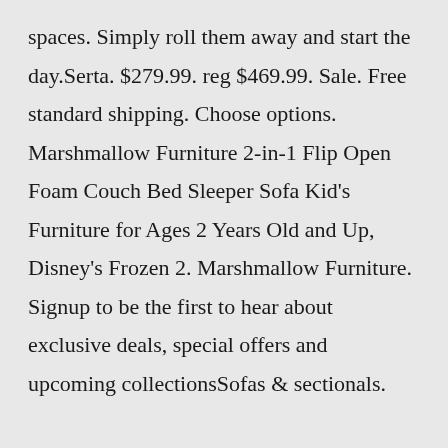spaces. Simply roll them away and start the day.Serta. $279.99. reg $469.99. Sale. Free standard shipping. Choose options. Marshmallow Furniture 2-in-1 Flip Open Foam Couch Bed Sleeper Sofa Kid's Furniture for Ages 2 Years Old and Up, Disney's Frozen 2. Marshmallow Furniture. Signup to be the first to hear about exclusive deals, special offers and upcoming collectionsSofas & sectionals.